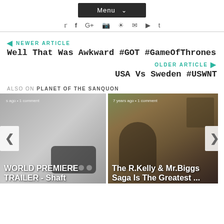Menu
NEWER ARTICLE
Well That Was Awkward #GOT #GameOfThrones
OLDER ARTICLE
USA Vs Sweden #USWNT
ALSO ON PLANET OF THE SANQUON
[Figure (photo): Card showing WORLD PREMIERE TRAILER - Shaft, with gray background and dots]
[Figure (photo): Card showing The R.Kelly & Mr.Biggs Saga Is The Greatest ..., with indoor photo background, 7 years ago · 1 comment]